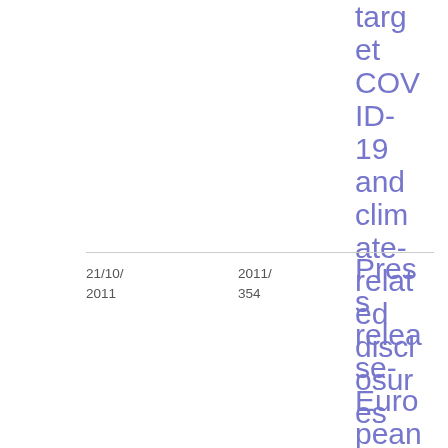target COVID-19 and climate-related disclosures
Press Releases
21/10/2011
2011/354
Press release- European enforcers
IFRS Supervisory Convergence
Press Release
Press Releases
PDF 31.97 KB